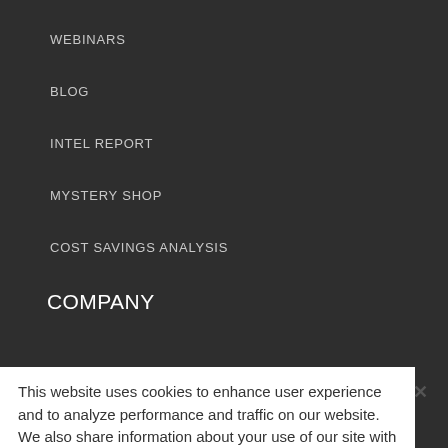WEBINARS
BLOG
INTEL REPORT
MYSTERY SHOP
COST SAVINGS ANALYSIS
COMPANY
ABOUT US
PRESS
CAREERS
CONTACT
PRIVACY
This website uses cookies to enhance user experience and to analyze performance and traffic on our website. We also share information about your use of our site with our social media, advertising and analytics partners.